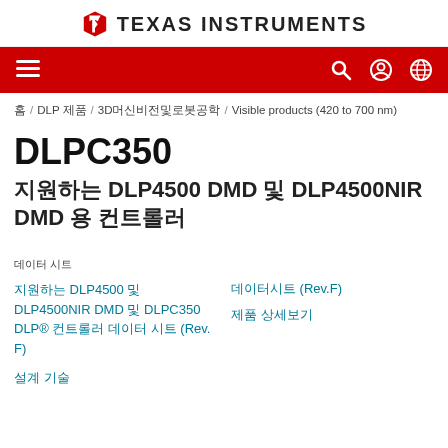[Figure (logo): Texas Instruments logo with red state of Texas icon and bold uppercase TEXAS INSTRUMENTS text]
[Figure (screenshot): Red navigation bar with hamburger menu icon on left and search, user account, and globe icons on right]
홈 / DLP 제품 / 3D머신비전및로봇공학 / Visible products (420 to 700 nm)
DLPC350
지원하는 DLP4500 DMD 및 DLP4500NIR DMD 용 컨트롤러
데이터 시트
지원하는 DLP4500 및 DLP4500NIR DMD 및 DLPC350 DLP® 컨트롤러 데이터 시트 (Rev. F)
데이터시트 (Rev.F)
제품 상세보기
설계 기술